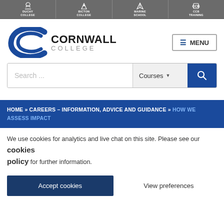DUCHY COLLEGE | BICTON COLLEGE | MARINE SCHOOL | CCB TRAINING
[Figure (logo): Cornwall College logo with navy blue C-shaped swoosh and text CORNWALL COLLEGE]
≡ MENU
Search ...  Courses ▼  🔍
HOME » CAREERS – INFORMATION, ADVICE AND GUIDANCE » HOW WE ASSESS IMPACT
We use cookies for analytics and live chat on this site. Please see our cookies policy for further information.
Accept cookies | View preferences